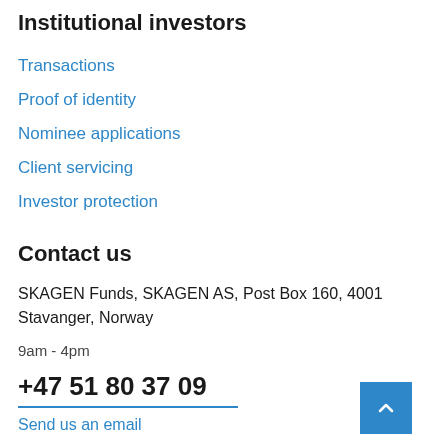Institutional investors
Transactions
Proof of identity
Nominee applications
Client servicing
Investor protection
Contact us
SKAGEN Funds, SKAGEN AS, Post Box 160, 4001 Stavanger, Norway
9am - 4pm
+47 51 80 37 09
Send us an email